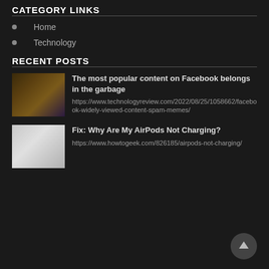CATEGORY LINKS
Home
Technology
RECENT POSTS
The most popular content on Facebook belongs in the garbage
https://www.technologyreview.com/2022/08/25/1058662/facebook-widely-viewed-content-spam-memes/
Fix: Why Are My AirPods Not Charging?
https://www.howtogeek.com/826185/airpods-not-charging/